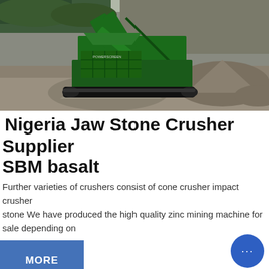[Figure (photo): Outdoor quarry scene showing a large green mobile stone crusher/screening machine on tracks, surrounded by piles of crushed gravel and rocky terrain in the background.]
Nigeria Jaw Stone Crusher Supplier SBM basalt
Further varieties of crushers consist of cone crusher impact crusher stone We have produced the high quality zinc mining machine for sale depending on
MORE
Get a Quote
WhatsApp